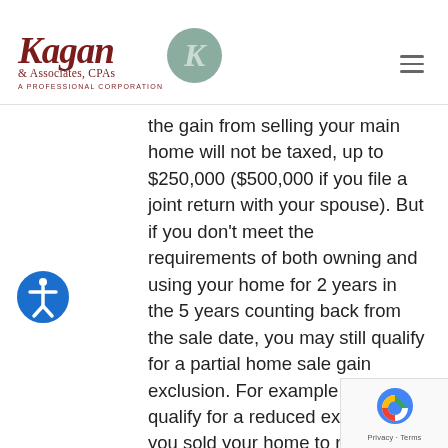Kagan & Associates, CPAs — A Professional Corporation
the gain from selling your main home will not be taxed, up to $250,000 ($500,000 if you file a joint return with your spouse). But if you don't meet the requirements of both owning and using your home for 2 years in the 5 years counting back from the sale date, you may still qualify for a partial home sale gain exclusion. For example, you may qualify for a reduced exclusion if you sold your home to relocate this year because of a change in employment or due to health. We can determine the amounts